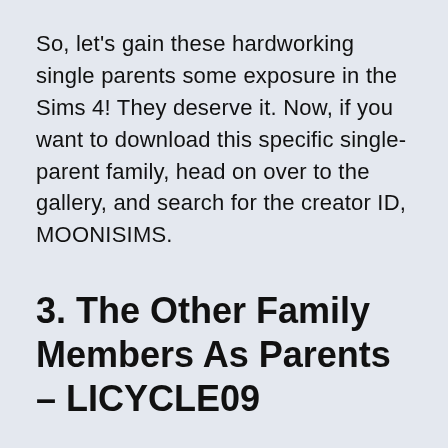So, let's gain these hardworking single parents some exposure in the Sims 4! They deserve it. Now, if you want to download this specific single-parent family, head on over to the gallery, and search for the creator ID, MOONISIMS.
3. The Other Family Members As Parents – LICYCLE09